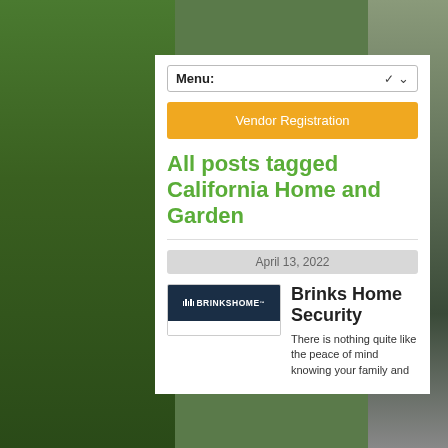[Figure (screenshot): Green grass/plants background with gray right sidebar]
Menu:
Vendor Registration
All posts tagged California Home and Garden
April 13, 2022
[Figure (logo): Brinks Home logo on dark navy background]
Brinks Home Security
There is nothing quite like the peace of mind knowing your family and